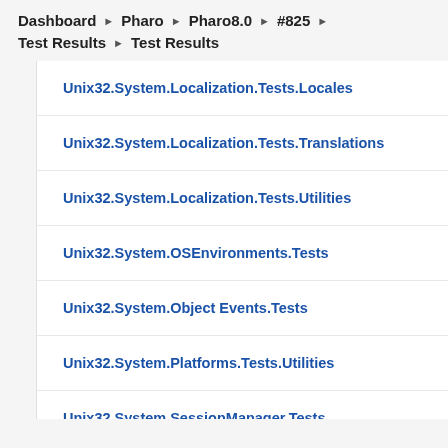Dashboard ▶ Pharo ▶ Pharo8.0 ▶ #825 ▶
Test Results ▶ Test Results
Unix32.System.Localization.Tests.Locales
Unix32.System.Localization.Tests.Translations
Unix32.System.Localization.Tests.Utilities
Unix32.System.OSEnvironments.Tests
Unix32.System.Object Events.Tests
Unix32.System.Platforms.Tests.Utilities
Unix32.System.SessionManager.Tests